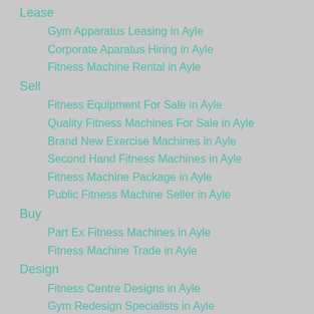Lease
Gym Apparatus Leasing in Ayle
Corporate Aparatus Hiring in Ayle
Fitness Machine Rental in Ayle
Sell
Fitness Equipment For Sale in Ayle
Quality Fitness Machines For Sale in Ayle
Brand New Exercise Machines in Ayle
Second Hand Fitness Machines in Ayle
Fitness Machine Package in Ayle
Public Fitness Machine Seller in Ayle
Buy
Part Ex Fitness Machines in Ayle
Fitness Machine Trade in Ayle
Design
Fitness Centre Designs in Ayle
Gym Redesign Specialists in Ayle
Gym Layout Designers in Ayle
Equipment
Cardio Fitness Machines in Ayle
Running Machine Suppliers in Ayle
Rowing Machine Suppliers in Ayle